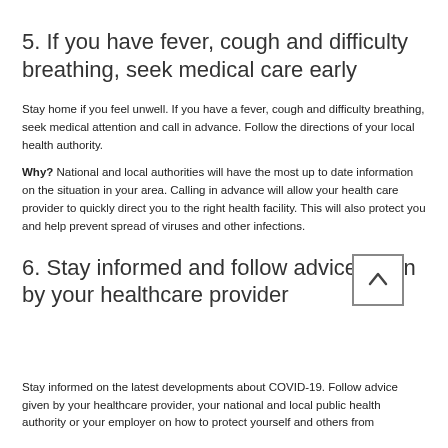5. If you have fever, cough and difficulty breathing, seek medical care early
Stay home if you feel unwell. If you have a fever, cough and difficulty breathing, seek medical attention and call in advance. Follow the directions of your local health authority.
Why? National and local authorities will have the most up to date information on the situation in your area. Calling in advance will allow your health care provider to quickly direct you to the right health facility. This will also protect you and help prevent spread of viruses and other infections.
6. Stay informed and follow advice given by your healthcare provider
Stay informed on the latest developments about COVID-19. Follow advice given by your healthcare provider, your national and local public health authority or your employer on how to protect yourself and others from